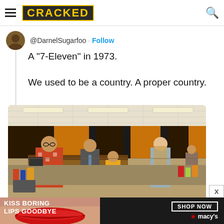CRACKED
@DarnelSugarfoo · Follow
A "7-Eleven" in 1973.

We used to be a country. A proper country.
[Figure (photo): Interior of a 1970s 7-Eleven convenience store showing customers and clerk in retro clothing, orange and brown color scheme decor]
[Figure (photo): Macy's advertisement banner showing woman's lips with red lipstick, text: KISS BORING LIPS GOODBYE, SHOP NOW, macy's]